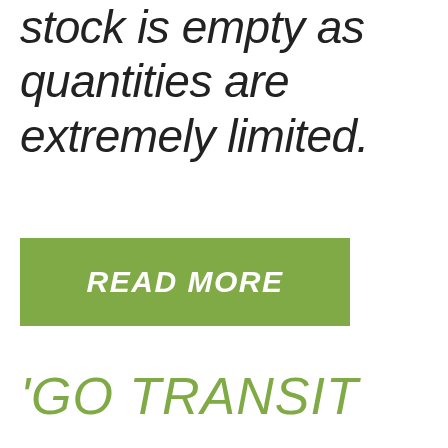stock is empty as quantities are extremely limited.
[Figure (other): Green button with text READ MORE]
'GO TRANSIT